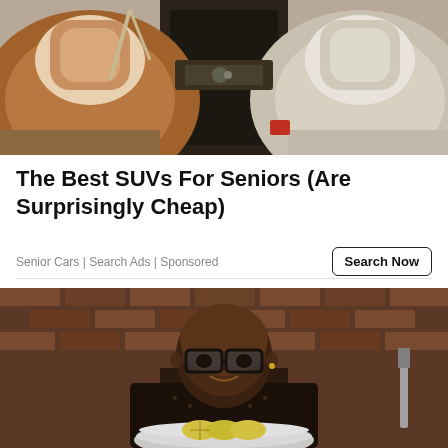[Figure (photo): Luxury car interior with brown leather and white/cream seats, overhead view showing center console and headrests]
The Best SUVs For Seniors (Are Surprisingly Cheap)
Senior Cars | Search Ads | Sponsored
[Figure (photo): A man wearing glasses and a dark patterned shirt sitting at a kitchen counter with a metal bowl containing lemon slices, against a brick wall background]